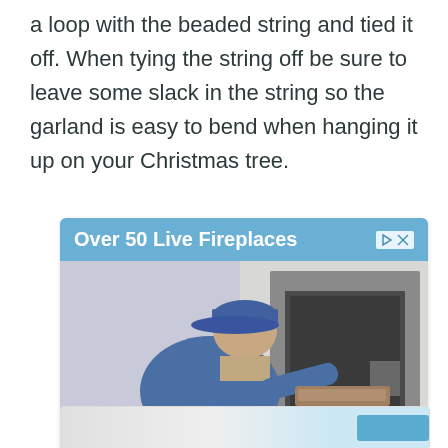a loop with the beaded string and tied it off. When tying the string off be sure to leave some slack in the string so the garland is easy to bend when hanging it up on your Christmas tree.
[Figure (screenshot): Advertisement banner showing 'Over 50 Live Fireplaces' with a blue header, control buttons (play, close), and an image of a man in a blue cap and shirt bending over a fireplace insert.]